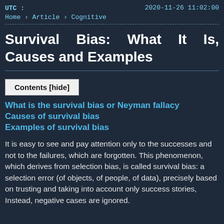UTC : 2020-11-26 11:02:00
Home › Article › Cognitive
Survival Bias: What It Is, Causes and Examples
Contents [hide]
What is the survival bias or Neyman fallacy
Causes of survival bias
Examples of survival bias
It is easy to see and pay attention only to the successes and not to the failures, which are forgotten. This phenomenon, which derives from selection bias, is called survival bias: a selection error (of objects, of people, of data), precisely based on trusting and taking into account only success stories, Instead, negative cases are ignored.